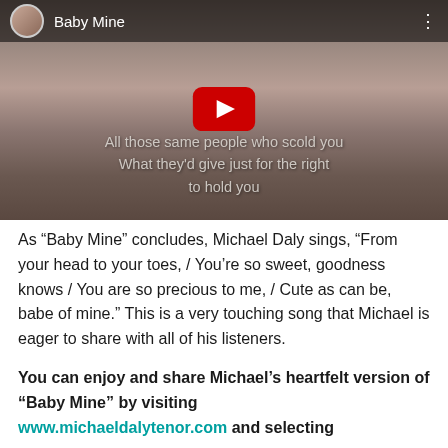[Figure (screenshot): YouTube video thumbnail for 'Baby Mine' showing a mother and baby with a red play button, with overlay lyrics text: 'All those same people who scold you / What they'd give just for the right / to hold you']
As “Baby Mine” concludes, Michael Daly sings, “From your head to your toes, / You’re so sweet, goodness knows / You are so precious to me, / Cute as can be, babe of mine.” This is a very touching song that Michael is eager to share with all of his listeners.
You can enjoy and share Michael’s heartfelt version of “Baby Mine” by visiting www.michaeldalytenor.com and selecting